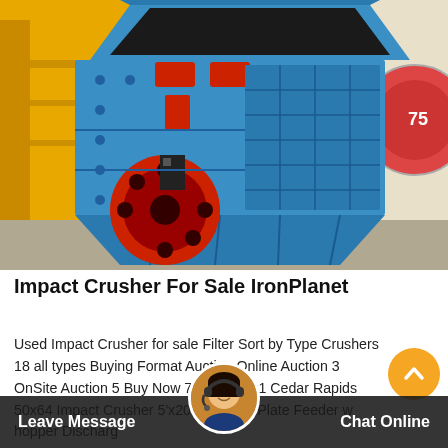[Figure (photo): Blue impact crusher machine with red flywheel and red accent parts, photographed outdoors against a yellow industrial background. Large heavy-duty crushing equipment.]
Impact Crusher For Sale IronPlanet
Used Impact Crusher for sale Filter Sort by Type Crushers 18 all types Buying Format Auction Online Auction 3 OnSite Auction 5 Buy Now 7 Make 1991 Cedar Rapids 50x64 Impact Crusher 5'x20' Vibrating Plate Feeder w hopper Discharg
[Figure (photo): Customer service avatar - woman wearing headset, chat support representative]
Leave Message
Chat Online